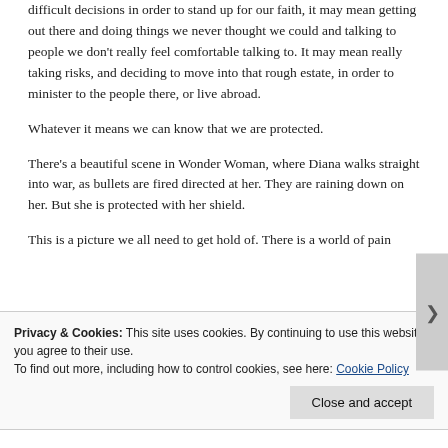difficult decisions in order to stand up for our faith, it may mean getting out there and doing things we never thought we could and talking to people we don't really feel comfortable talking to. It may mean really taking risks, and deciding to move into that rough estate, in order to minister to the people there, or live abroad.
Whatever it means we can know that we are protected.
There's a beautiful scene in Wonder Woman, where Diana walks straight into war, as bullets are fired directed at her. They are raining down on her. But she is protected with her shield.
This is a picture we all need to get hold of. There is a world of pain
Privacy & Cookies: This site uses cookies. By continuing to use this website, you agree to their use.
To find out more, including how to control cookies, see here: Cookie Policy
Close and accept